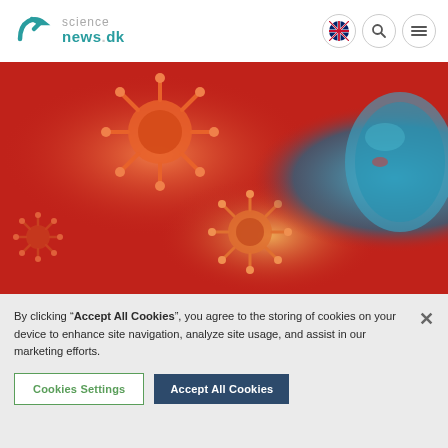[Figure (logo): Science News DK logo with teal arrow/hook icon and text 'science news.dk']
[Figure (screenshot): Navigation icons: UK flag circle, search magnifier circle, hamburger menu circle]
[Figure (photo): Hero image showing 3D render of virus particles (orange/red) on red background with a translucent blue human head on the right side]
By clicking “Accept All Cookies”, you agree to the storing of cookies on your device to enhance site navigation, analyze site usage, and assist in our marketing efforts.
Cookies Settings
Accept All Cookies